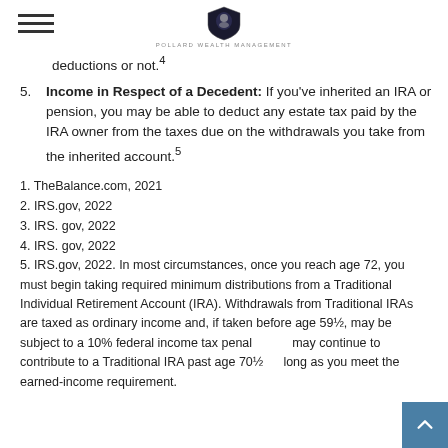POLLARD WEALTH MANAGEMENT
deductions or not.4
5. Income in Respect of a Decedent: If you've inherited an IRA or pension, you may be able to deduct any estate tax paid by the IRA owner from the taxes due on the withdrawals you take from the inherited account.5
1. TheBalance.com, 2021
2. IRS.gov, 2022
3. IRS. gov, 2022
4. IRS. gov, 2022
5. IRS.gov, 2022. In most circumstances, once you reach age 72, you must begin taking required minimum distributions from a Traditional Individual Retirement Account (IRA). Withdrawals from Traditional IRAs are taxed as ordinary income and, if taken before age 59½, may be subject to a 10% federal income tax penalty. You may continue to contribute to a Traditional IRA past age 70½ as long as you meet the earned-income requirement.